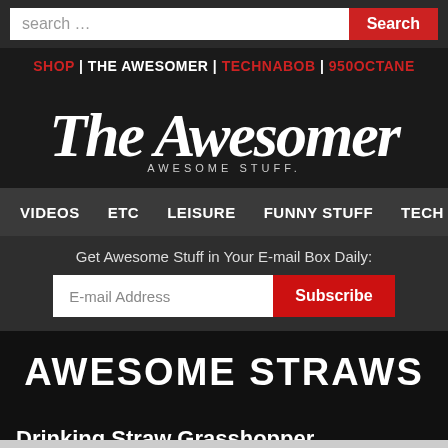search … Search
SHOP | THE AWESOMER | TECHNABOB | 950OCTANE
[Figure (logo): The Awesomer — AWESOME STUFF. logo in white script on dark background]
VIDEOS  ETC  LEISURE  FUNNY STUFF  TECH  LI…
Get Awesome Stuff in Your E-mail Box Daily:
E-mail Address  Subscribe
AWESOME STRAWS
Drinking Straw Grasshopper